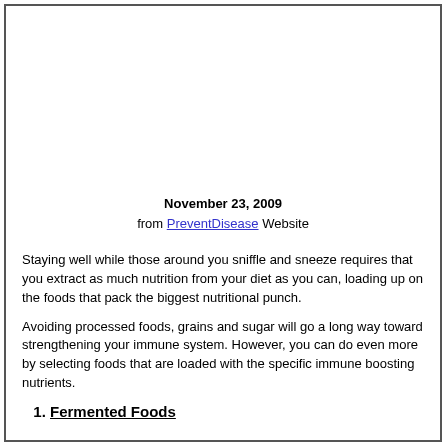November 23, 2009
from PreventDisease Website
Staying well while those around you sniffle and sneeze requires that you extract as much nutrition from your diet as you can, loading up on the foods that pack the biggest nutritional punch.
Avoiding processed foods, grains and sugar will go a long way toward strengthening your immune system. However, you can do even more by selecting foods that are loaded with the specific immune boosting nutrients.
1. Fermented Foods